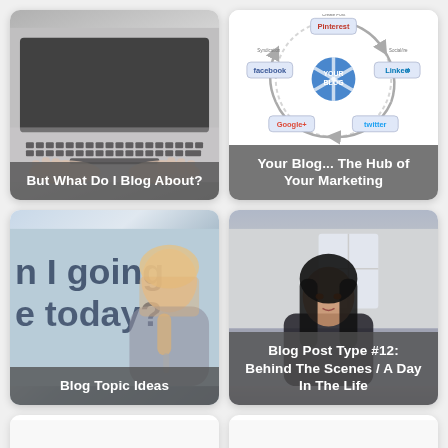[Figure (photo): Person typing on a laptop keyboard, hands visible, gray background. Caption overlay: 'But What Do I Blog About?']
[Figure (infographic): Social media hub diagram showing 'YOUR BLOG' at center with social networks (Pinterest, Facebook, LinkedIn, Google+, Twitter) connected around it. Caption overlay: 'Your Blog... The Hub of Your Marketing']
[Figure (photo): Woman with blonde hair appearing thoughtful, text overlay reading 'n I going e today?' in background. Caption: 'Blog Topic Ideas']
[Figure (photo): Young woman with long dark hair looking at camera, indoor background. Caption overlay: 'Blog Post Type #12: Behind The Scenes / A Day In The Life']
[Figure (photo): Partially visible card, mostly white/blank]
[Figure (photo): Partially visible card, mostly white/blank]